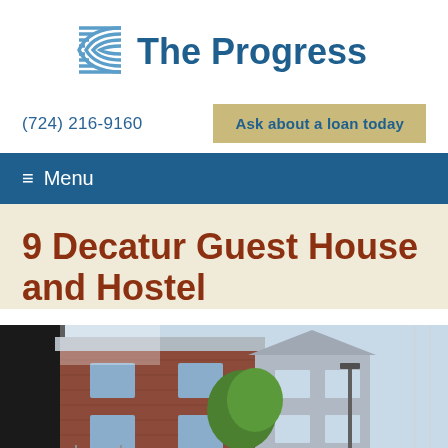[Figure (logo): The Progress Fund logo with blue wave/arc graphic and bold blue text]
(724) 216-9160
Ask about a loan today
≡ Menu
9 Decatur Guest House and Hostel
[Figure (photo): Exterior photo of a two-story brick building guest house and hostel with trees visible]